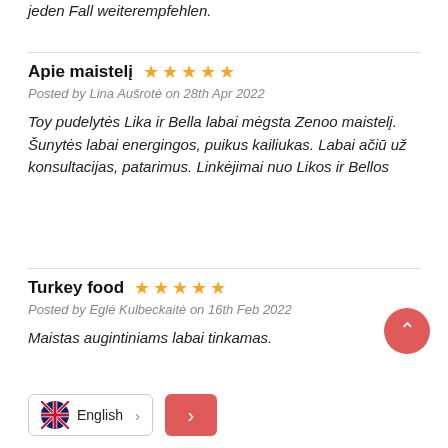jeden Fall weiterempfehlen.
Apie maistelį ★★★★★
Posted by Lina Aušrotė on 28th Apr 2022
Toy pudelytės Lika ir Bella labai mėgsta Zenoo maistelį. Šunytės labai energingos, puikus kailiukas. Labai ačiū už konsultacijas, patarimus. Linkėjimai nuo Likos ir Bellos
Turkey food ★★★★★
Posted by Eglė Kulbeckaitė on 16th Feb 2022
Maistas augintiniams labai tinkamas.
English >